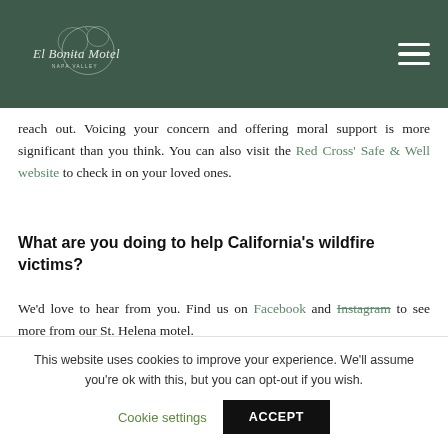El Bonita Motel Napa Valley
reach out. Voicing your concern and offering moral support is more significant than you think. You can also visit the Red Cross' Safe & Well website to check in on your loved ones.
What are you doing to help California's wildfire victims?
We'd love to hear from you. Find us on Facebook and Instagram to see more from our St. Helena motel.
This website uses cookies to improve your experience. We'll assume you're ok with this, but you can opt-out if you wish.